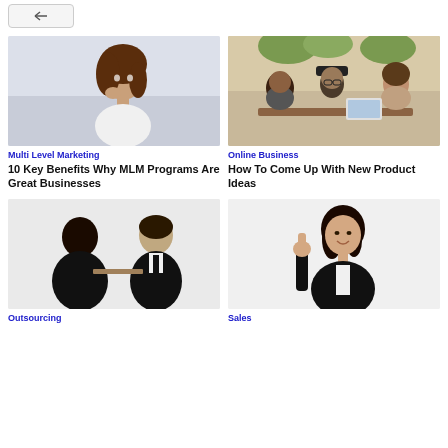[Figure (screenshot): Top left close/back button UI element]
[Figure (photo): Young Asian woman in white shirt, thinking pose]
Multi Level Marketing
10 Key Benefits Why MLM Programs Are Great Businesses
[Figure (photo): Group of young people smiling at a table in a cafe]
Online Business
How To Come Up With New Product Ideas
[Figure (photo): Two business people in interview / meeting setting]
Outsourcing
[Figure (photo): Young Asian woman in black blazer giving thumbs up]
Sales